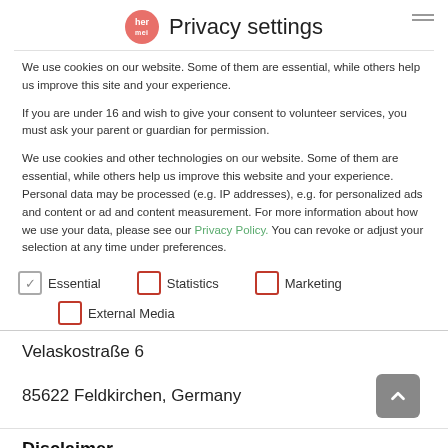Privacy settings
We use cookies on our website. Some of them are essential, while others help us improve this site and your experience.
If you are under 16 and wish to give your consent to volunteer services, you must ask your parent or guardian for permission.
We use cookies and other technologies on our website. Some of them are essential, while others help us improve this website and your experience. Personal data may be processed (e.g. IP addresses), e.g. for personalized ads and content or ad and content measurement. For more information about how we use your data, please see our Privacy Policy. You can revoke or adjust your selection at any time under preferences.
Essential
Statistics
Marketing
External Media
Velaskostraße 6
85622 Feldkirchen, Germany
Disclaimer